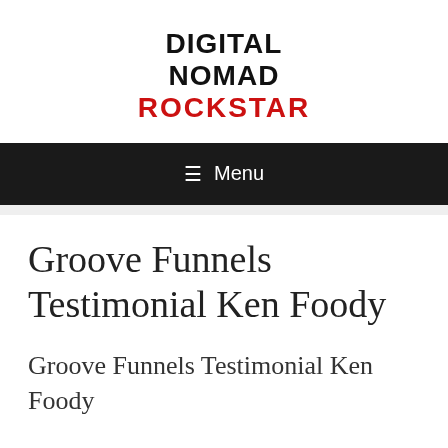DIGITAL NOMAD ROCKSTAR
≡ Menu
Groove Funnels Testimonial Ken Foody
Groove Funnels Testimonial Ken Foody